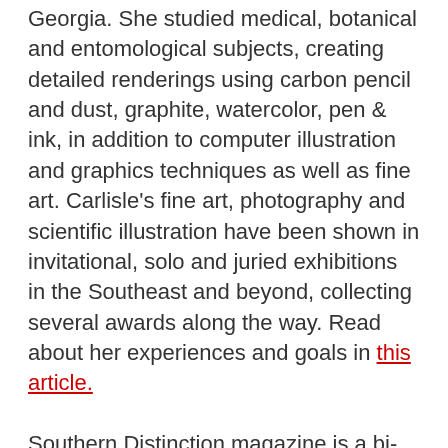Georgia. She studied medical, botanical and entomological subjects, creating detailed renderings using carbon pencil and dust, graphite, watercolor, pen & ink, in addition to computer illustration and graphics techniques as well as fine art. Carlisle's fine art, photography and scientific illustration have been shown in invitational, solo and juried exhibitions in the Southeast and beyond, collecting several awards along the way. Read about her experiences and goals in this article.
Southern Distinction magazine is a bi-monthly full-color magazine with a distribution throughout Northeast Georgia and the Golden Isles; online subscriptions will begin with the August-September issue.